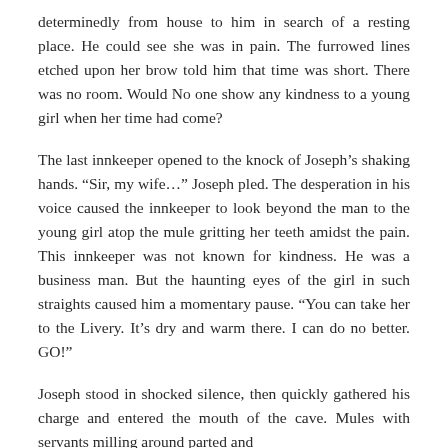determinedly from house to him in search of a resting place. He could see she was in pain. The furrowed lines etched upon her brow told him that time was short. There was no room. Would No one show any kindness to a young girl when her time had come?
The last innkeeper opened to the knock of Joseph's shaking hands. “Sir, my wife…” Joseph pled. The desperation in his voice caused the innkeeper to look beyond the man to the young girl atop the mule gritting her teeth amidst the pain. This innkeeper was not known for kindness. He was a business man. But the haunting eyes of the girl in such straights caused him a momentary pause. “You can take her to the Livery. It’s dry and warm there. I can do no better. GO!”
Joseph stood in shocked silence, then quickly gathered his charge and entered the mouth of the cave. Mules with servants milling around parted and